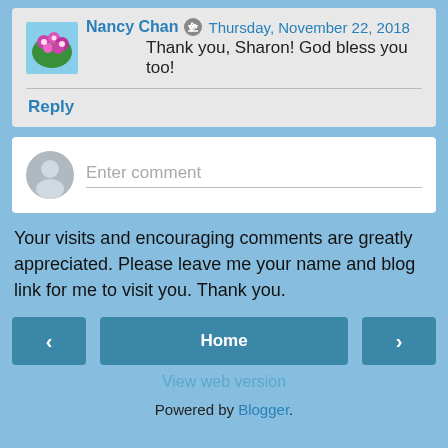Nancy Chan  Thursday, November 22, 2018
Thank you, Sharon! God bless you too!
Reply
Enter comment
Your visits and encouraging comments are greatly appreciated. Please leave me your name and blog link for me to visit you. Thank you.
‹  Home  ›
View web version
Powered by Blogger.